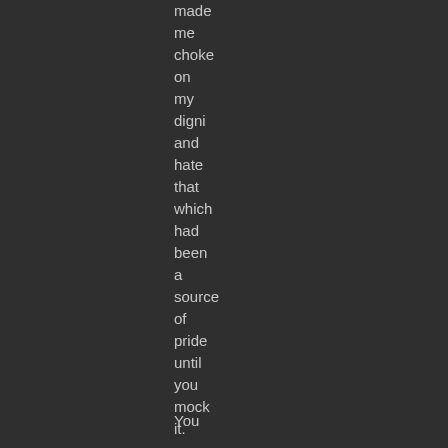You made me choke on my dignity and hate that which had been a source of pride until you mock it. You